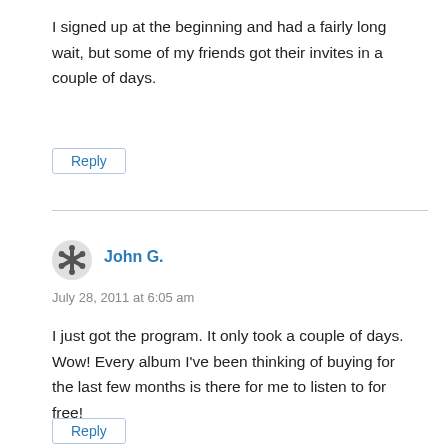I signed up at the beginning and had a fairly long wait, but some of my friends got their invites in a couple of days.
Reply
John G.
July 28, 2011 at 6:05 am
I just got the program. It only took a couple of days. Wow! Every album I've been thinking of buying for the last few months is there for me to listen to for free!
Reply